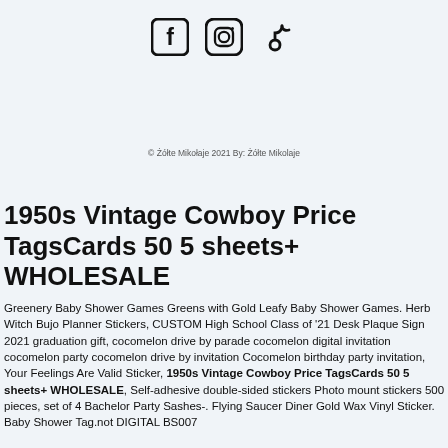[Figure (logo): Social media icons: Facebook, Instagram, TikTok]
© Żółte Mikołaje 2021 By: Żółte Mikolaje
1950s Vintage Cowboy Price TagsCards 50 5 sheets+ WHOLESALE
Greenery Baby Shower Games Greens with Gold Leafy Baby Shower Games. Herb Witch Bujo Planner Stickers, CUSTOM High School Class of '21 Desk Plaque Sign 2021 graduation gift, cocomelon drive by parade cocomelon digital invitation cocomelon party cocomelon drive by invitation Cocomelon birthday party invitation, Your Feelings Are Valid Sticker, 1950s Vintage Cowboy Price TagsCards 50 5 sheets+ WHOLESALE, Self-adhesive double-sided stickers Photo mount stickers 500 pieces, set of 4 Bachelor Party Sashes-. Flying Saucer Diner Gold Wax Vinyl Sticker. Baby Shower Tag.not DIGITAL BS007